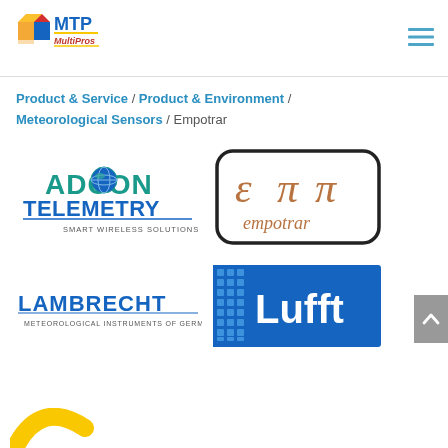[Figure (logo): MTP MultiPros logo with colorful cube icon and blue/red text]
[Figure (logo): Hamburger menu icon (three horizontal lines in blue)]
Product & Service / Product & Environment / Meteorological Sensors / Empotrar
[Figure (logo): ADCON TELEMETRY - Smart Wireless Solutions logo]
[Figure (logo): Empotrar logo with Greek-style epsilon-pi letters and cursive empotrar text in bronze/copper color, rounded rectangle border]
[Figure (logo): LAMBRECHT Meteorological Instruments of Germany logo in blue text]
[Figure (logo): Lufft logo - blue rectangle with white Lufft text and grid pattern on left]
[Figure (logo): Partial yellow/gold logo visible at bottom left (cut off)]